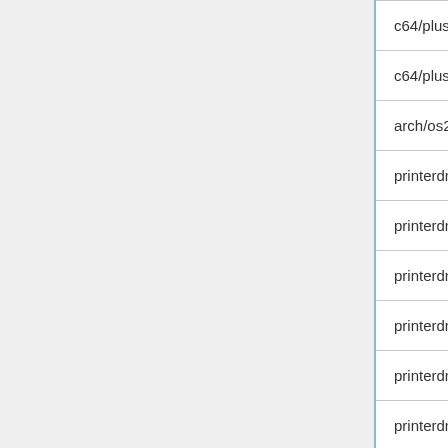| File | Description |
| --- | --- |
| c64/plus256k.c | PLU... |
| c64/plus256k.c | PLU... |
| arch/os2/video.c | PM... |
| printerdrv/interface-serial.c | Pri... |
| printerdrv/driver-select.c | Pri... |
| printerdrv/output-select.c | Pri... |
| printerdrv/output-text.c | Pri... |
| printerdrv/interface-serial.c | Pri... |
| printerdrv/driver-select.c | Pri... |